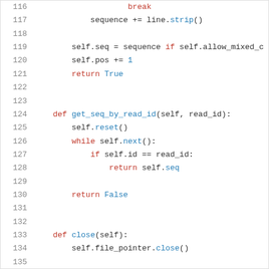[Figure (screenshot): Python source code snippet showing lines 116-138 with syntax highlighting. Keywords like break, return, while, if, def are in red; method names and literals like strip(), next(), reset(), close(), True, False, None, 0, 1 in blue; identifiers in black/dark.]